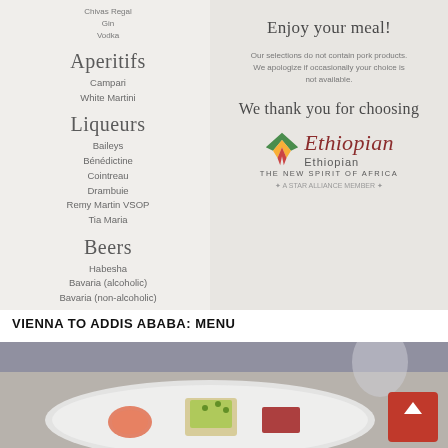[Figure (photo): Photo of an Ethiopian Airlines in-flight menu showing two panels: left panel lists Aperitifs (Campari, White Martini), Liqueurs (Baileys, Benedictine, Cointreau, Drambuie, Remy Martin VSOP, Tia Maria), and Beers (Habesha, Bavaria alcoholic, Bavaria non-alcoholic); right panel reads 'Enjoy your meal!' with a note about no pork products, 'We thank you for choosing' with Ethiopian Airlines logo and tagline 'The New Spirit of Africa'.]
VIENNA TO ADDIS ABABA: MENU
[Figure (photo): Photo of a white plate with appetizer items including what appears to be smoked salmon, a cracker topped with avocado and garnish, and a piece of red-colored food item, with a wine glass and cutlery visible in the background.]